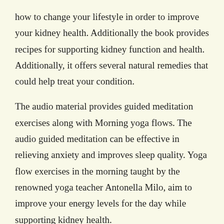how to change your lifestyle in order to improve your kidney health. Additionally the book provides recipes for supporting kidney function and health. Additionally, it offers several natural remedies that could help treat your condition.
The audio material provides guided meditation exercises along with Morning yoga flows. The audio guided meditation can be effective in relieving anxiety and improves sleep quality. Yoga flow exercises in the morning taught by the renowned yoga teacher Antonella Milo, aim to improve your energy levels for the day while supporting kidney health.
Overall, the collection of products offers a comprehensive and natural method of treating kidney disease. Through simple lifestyle changes and releasing stress through meditation and yoga, you can be rid of the pain and discomfort that are caused by the kidney condition.